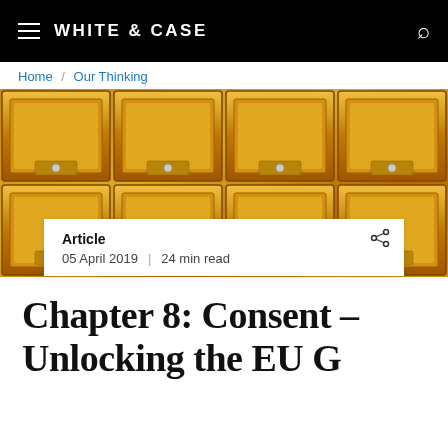WHITE & CASE
Home / Our Thinking
[Figure (photo): Gold-colored metal lockers with handles and locks, photographed close-up]
Article
05 April 2019  |  24 min read
Chapter 8: Consent – Unlocking the EU General Data